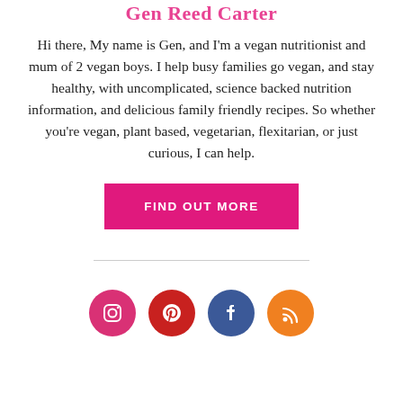Gen Reed Carter
Hi there, My name is Gen, and I'm a vegan nutritionist and mum of 2 vegan boys. I help busy families go vegan, and stay healthy, with uncomplicated, science backed nutrition information, and delicious family friendly recipes. So whether you're vegan, plant based, vegetarian, flexitarian, or just curious, I can help.
[Figure (other): Pink 'FIND OUT MORE' call-to-action button]
[Figure (infographic): Row of four social media icons: Instagram (pink circle), Pinterest (red circle), Facebook (dark blue circle), RSS (orange circle)]